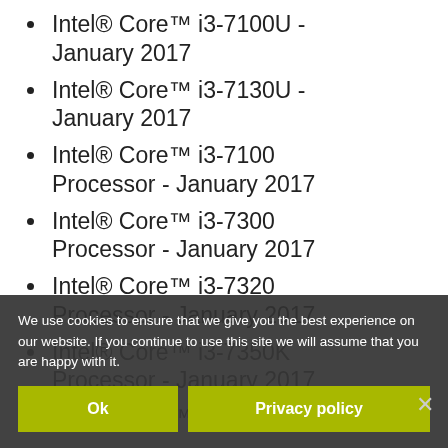Intel® Core™ i3-7100U - January 2017
Intel® Core™ i3-7130U - January 2017
Intel® Core™ i3-7100 Processor - January 2017
Intel® Core™ i3-7300 Processor - January 2017
Intel® Core™ i3-7320 Processor - January 2017
Intel® Core™ i3-7350K Processor - January 2017
Intel® Core™ i3-7100T
Processor - January 2017
We use cookies to ensure that we give you the best experience on our website. If you continue to use this site we will assume that you are happy with it.
Ok
Privacy policy